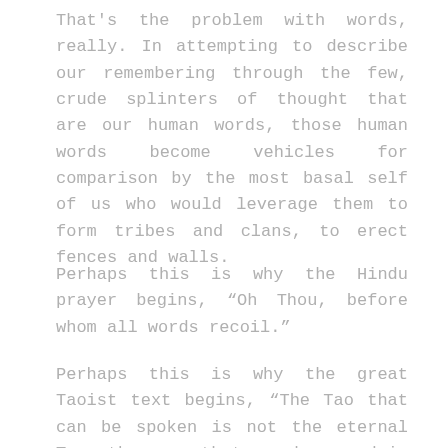That's the problem with words, really. In attempting to describe our remembering through the few, crude splinters of thought that are our human words, those human words become vehicles for comparison by the most basal self of us who would leverage them to form tribes and clans, to erect fences and walls.
Perhaps this is why the Hindu prayer begins, “Oh Thou, before whom all words recoil.”
Perhaps this is why the great Taoist text begins, “The Tao that can be spoken is not the eternal Tao; the name that can be named is not the